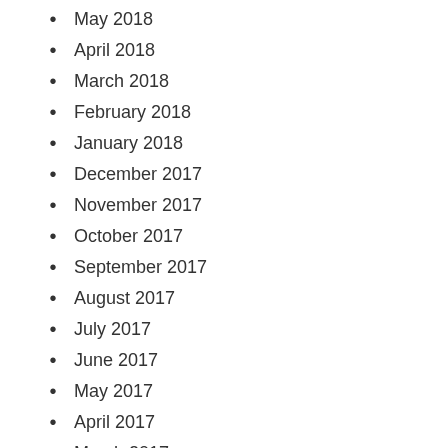May 2018
April 2018
March 2018
February 2018
January 2018
December 2017
November 2017
October 2017
September 2017
August 2017
July 2017
June 2017
May 2017
April 2017
March 2017
February 2017
January 2017
December 2016
November 2016
September 2016